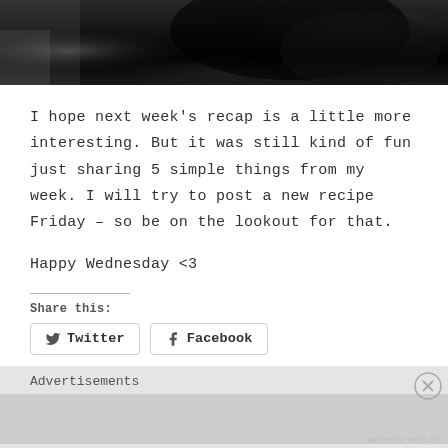[Figure (photo): Black and white photograph, dark image showing a dark animal or object against a light textured background, cropped at top of page]
I hope next week’s recap is a little more interesting. But it was still kind of fun just sharing 5 simple things from my week. I will try to post a new recipe Friday – so be on the lookout for that.
Happy Wednesday <3
Share this:
Twitter
Facebook
Advertisements